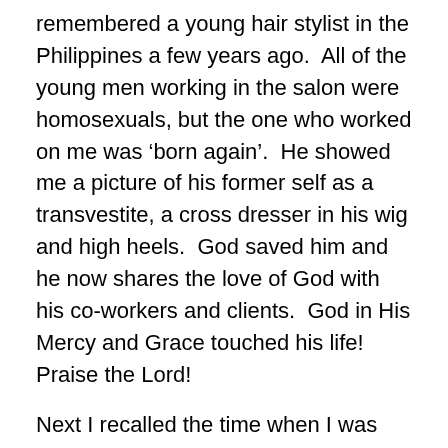remembered a young hair stylist in the Philippines a few years ago.  All of the young men working in the salon were homosexuals, but the one who worked on me was 'born again'.  He showed me a picture of his former self as a transvestite, a cross dresser in his wig and high heels.  God saved him and he now shares the love of God with his co-workers and clients.  God in His Mercy and Grace touched his life!  Praise the Lord!
Next I recalled the time when I was vacationing on a neighbor island and a cruise ship dropped off a shipload of gay men at the beach near our hotel.  They came in a long procession with their partners, many hand in hand.  I was invited by friends on a glass- bottom boat ride which happened to reserve 3/4 of the seats for these guys, and we all had a great time looking at the coral reef and tropical fish.